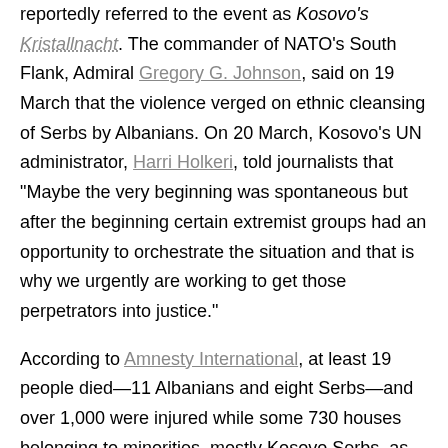reportedly referred to the event as Kosovo's Kristallnacht. The commander of NATO's South Flank, Admiral Gregory G. Johnson, said on 19 March that the violence verged on ethnic cleansing of Serbs by Albanians. On 20 March, Kosovo's UN administrator, Harri Holkeri, told journalists that "Maybe the very beginning was spontaneous but after the beginning certain extremist groups had an opportunity to orchestrate the situation and that is why we urgently are working to get those perpetrators into justice."

According to Amnesty International, at least 19 people died—11 Albanians and eight Serbs—and over 1,000 were injured while some 730 houses belonging to minorities, mostly Kosovo Serbs, as